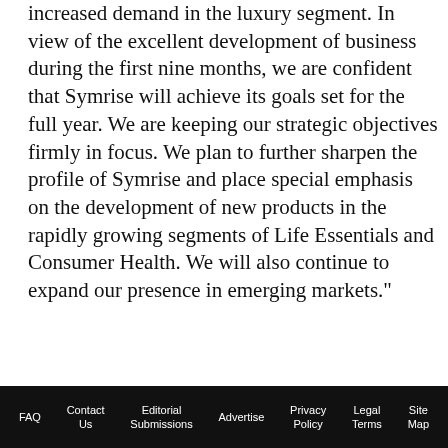increased demand in the luxury segment. In view of the excellent development of business during the first nine months, we are confident that Symrise will achieve its goals set for the full year. We are keeping our strategic objectives firmly in focus. We plan to further sharpen the profile of Symrise and place special emphasis on the development of new products in the rapidly growing segments of Life Essentials and Consumer Health. We will also continue to expand our presence in emerging markets."
[Figure (illustration): Advertisement banner: teal lotus/crown logo on the left, 'Hosted by perfumer & flavorist+' logo text on the right with '2023 WORLD ON' text below. Close button (X) in top right.]
FAQ  Contact Us  Editorial Submissions  Advertise  Privacy Policy  Legal Terms  Site Map